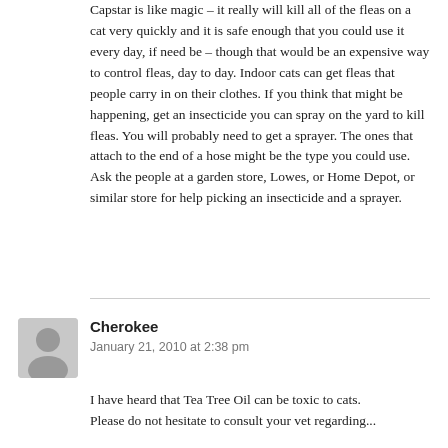Capstar is like magic – it really will kill all of the fleas on a cat very quickly and it is safe enough that you could use it every day, if need be – though that would be an expensive way to control fleas, day to day. Indoor cats can get fleas that people carry in on their clothes. If you think that might be happening, get an insecticide you can spray on the yard to kill fleas. You will probably need to get a sprayer. The ones that attach to the end of a hose might be the type you could use. Ask the people at a garden store, Lowes, or Home Depot, or similar store for help picking an insecticide and a sprayer.
Cherokee
January 21, 2010 at 2:38 pm
I have heard that Tea Tree Oil can be toxic to cats. Please do not hesitate to consult your vet regarding...